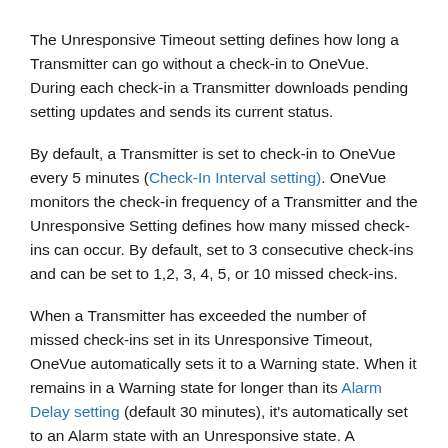The Unresponsive Timeout setting defines how long a Transmitter can go without a check-in to OneVue. During each check-in a Transmitter downloads pending setting updates and sends its current status.
By default, a Transmitter is set to check-in to OneVue every 5 minutes (Check-In Interval setting). OneVue monitors the check-in frequency of a Transmitter and the Unresponsive Setting defines how many missed check-ins can occur. By default, set to 3 consecutive check-ins and can be set to 1,2, 3, 4, 5, or 10 missed check-ins.
When a Transmitter has exceeded the number of missed check-ins set in its Unresponsive Timeout, OneVue automatically sets it to a Warning state. When it remains in a Warning state for longer than its Alarm Delay setting (default 30 minutes), it's automatically set to an Alarm state with an Unresponsive state. A